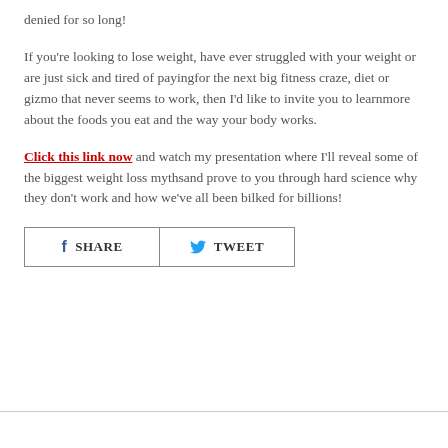denied for so long!
If you're looking to lose weight, have ever struggled with your weight or are just sick and tired of payingfor the next big fitness craze, diet or gizmo that never seems to work, then I'd like to invite you to learnmore about the foods you eat and the way your body works.
Click this link now and watch my presentation where I'll reveal some of the biggest weight loss mythsand prove to you through hard science why they don't work and how we've all been bilked for billions!
[Figure (other): Social sharing buttons: SHARE (Facebook) and TWEET (Twitter)]